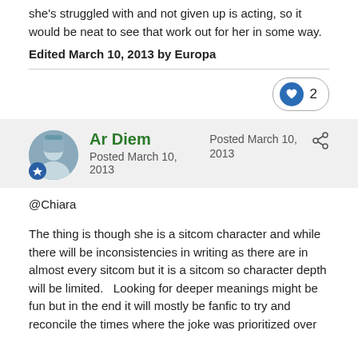she's struggled with and not given up is acting, so it would be neat to see that work out for her in some way.
Edited March 10, 2013 by Europa
2 (likes)
Ar Diem
Posted March 10, 2013
Posted March 10, 2013
@Chiara
The thing is though she is a sitcom character and while there will be inconsistencies in writing as there are in almost every sitcom but it is a sitcom so character depth will be limited.   Looking for deeper meanings might be fun but in the end it will mostly be fanfic to try and reconcile the times where the joke was prioritized over